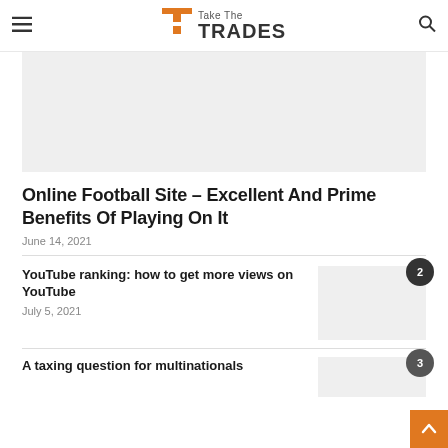Take The TRADES
[Figure (photo): Gray placeholder hero image for article]
Online Football Site – Excellent And Prime Benefits Of Playing On It
June 14, 2021
YouTube ranking: how to get more views on YouTube
July 5, 2021
[Figure (photo): Gray placeholder thumbnail image, badge number 2]
A taxing question for multinationals
[Figure (photo): Gray placeholder thumbnail image, badge number 3]